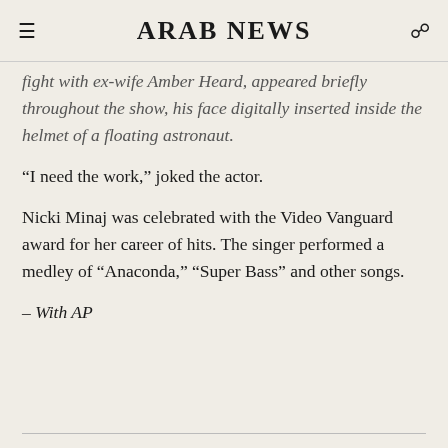ARAB NEWS
fight with ex-wife Amber Heard, appeared briefly throughout the show, his face digitally inserted inside the helmet of a floating astronaut.
“I need the work,” joked the actor.
Nicki Minaj was celebrated with the Video Vanguard award for her career of hits. The singer performed a medley of “Anaconda,” “Super Bass” and other songs.
- With AP